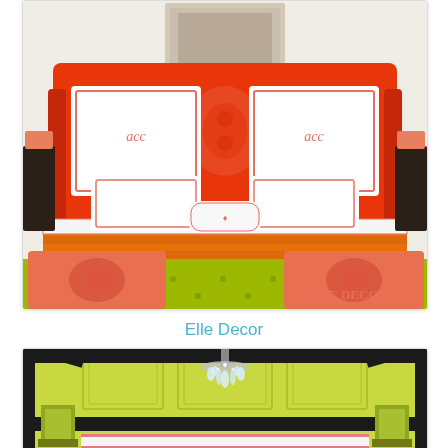[Figure (photo): Bedroom with a vibrant red/orange upholstered headboard decorated with damask pattern, white monogrammed pillows with coral trim, orange and yellow bedding, and a yellow-green tufted sofa/bench in the foreground with coral damask cushions. ELLE DECOR watermark visible.]
Elle Decor
[Figure (photo): Bedroom with a black four-poster canopy bed frame with crystal chandelier hanging from canopy, lime green paneled wall behind, green table lamps on either side, white bedding with pink trim visible at bottom.]